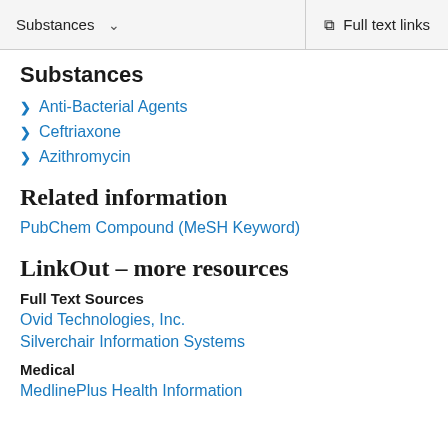Substances | Full text links
Substances
Anti-Bacterial Agents
Ceftriaxone
Azithromycin
Related information
PubChem Compound (MeSH Keyword)
LinkOut – more resources
Full Text Sources
Ovid Technologies, Inc.
Silverchair Information Systems
Medical
MedlinePlus Health Information